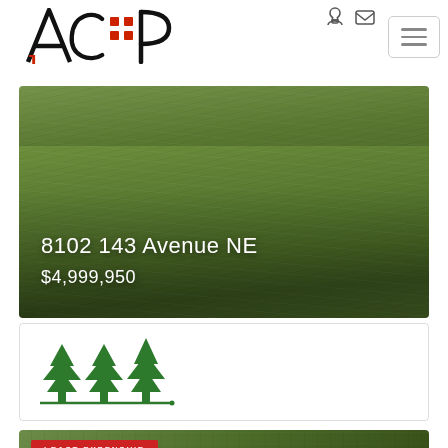[Figure (logo): ACP real estate company logo with stylized letters and red grid dots]
[Figure (photo): Grass field aerial/ground photo listing card showing address 8102 143 Avenue NE priced at $4,999,950]
8102 143 Avenue NE
$4,999,950
[Figure (logo): 444 forestry/land company logo with green stylized tree symbols]
[Figure (photo): Aerial satellite view of property with LEAST EXPENSIVE badge and chat button overlay]